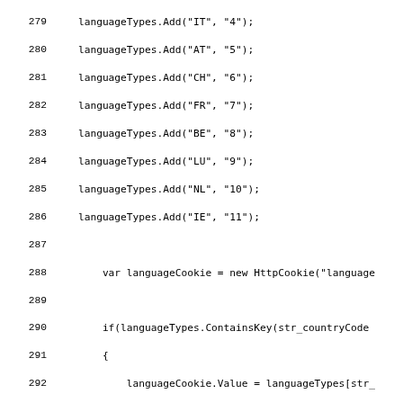Code listing lines 279-308 showing C#/Razor code for language cookie setup and optimizer section